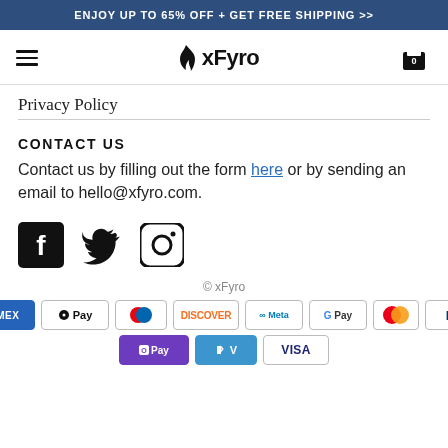ENJOY UP TO 65% OFF + GET FREE SHIPPING >>
[Figure (screenshot): xFyro website navigation bar with hamburger menu, xFyro logo with flame icon, and shopping cart icon showing 0 items]
Privacy Policy
CONTACT US
Contact us by filling out the form here or by sending an email to hello@xfyro.com.
[Figure (illustration): Social media icons: Facebook, Twitter, Instagram]
© xFyro
[Figure (illustration): Payment method icons: American Express, Apple Pay, Diners Club, Discover, Meta Pay, Google Pay, Mastercard, PayPal, Shop Pay, Venmo, Visa]